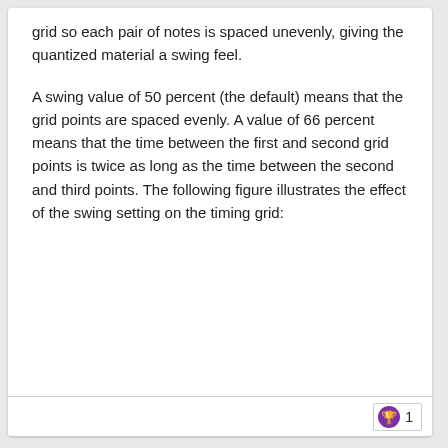grid so each pair of notes is spaced unevenly, giving the quantized material a swing feel.
A swing value of 50 percent (the default) means that the grid points are spaced evenly. A value of 66 percent means that the time between the first and second grid points is twice as long as the time between the second and third points. The following figure illustrates the effect of the swing setting on the timing grid:
1